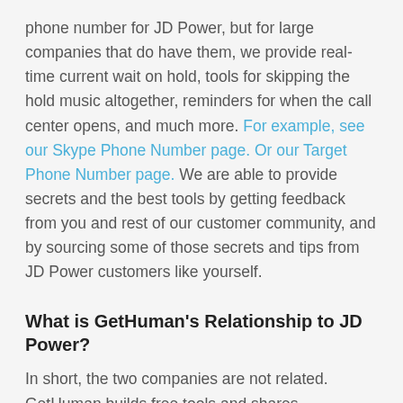phone number for JD Power, but for large companies that do have them, we provide real-time current wait on hold, tools for skipping the hold music altogether, reminders for when the call center opens, and much more. For example, see our Skype Phone Number page. Or our Target Phone Number page. We are able to provide secrets and the best tools by getting feedback from you and rest of our customer community, and by sourcing some of those secrets and tips from JD Power customers like yourself.
What is GetHuman's Relationship to JD Power?
In short, the two companies are not related. GetHuman builds free tools and shares information amongst customers of companies like JD Power. For